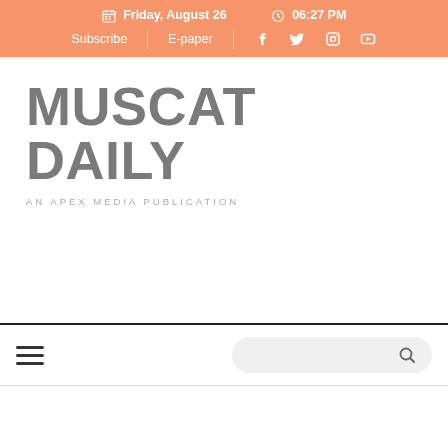Friday, August 26   06:27 PM
Subscribe  E-paper  Facebook  Twitter  Instagram  YouTube
MUSCAT DAILY
AN APEX MEDIA PUBLICATION
[Figure (other): Navigation bar with hamburger menu and search bar]